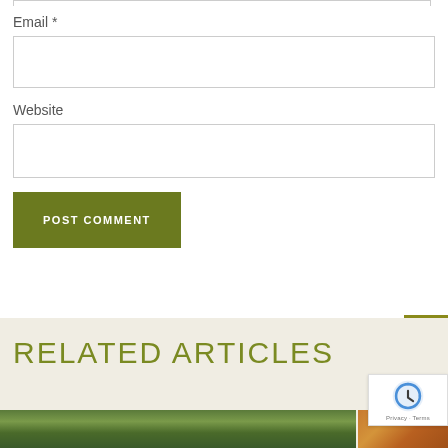Email *
Website
POST COMMENT
RELATED ARTICLES